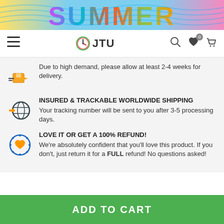[Figure (illustration): Summer sale banner with colorful SUMMER text in gradient colors on a light blue wavy background with pool floats]
[Figure (screenshot): Navigation bar with hamburger menu, JTU clock logo, search icon, heart wishlist icon with 0 badge, and shopping cart icon]
Due to high demand, please allow at least 2-4 weeks for delivery.
INSURED & TRACKABLE WORLDWIDE SHIPPING
Your tracking number will be sent to you after 3-5 processing days.
LOVE IT OR GET A 100% REFUND!
We're absolutely confident that you'll love this product. If you don't, just return it for a FULL refund! No questions asked!
ADD TO CART